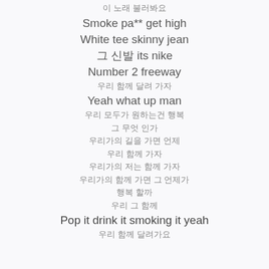이 노래 불러봐요
Smoke pa** get high
White tee skinny jean
그 신발 its nike
Number 2 freeway
우리 함께 달려 가자
Yeah what up man
우리 모두가 원하는건 행복
그 무엇 인가
우리가의 길을 가면 언제
우리 함께 가자
우리가의 저는 함께 가자
우리가의 함께 가면 그 언제가
행복 할까
우리 그 함께
Pop it drink it smoking it yeah
우리 함께 달려가요